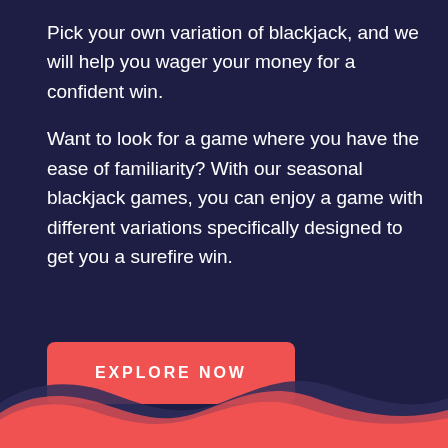Pick your own variation of blackjack, and we will help you wager your money for a confident win.
Want to look for a game where you have the ease of familiarity? With our seasonal blackjack games, you can enjoy a game with different variations specifically designed to get you a surefire win.
EXPLORE NOW
[Figure (illustration): Decorative wave pattern at the bottom of the page with layered red/coral and dark navy wave shapes]